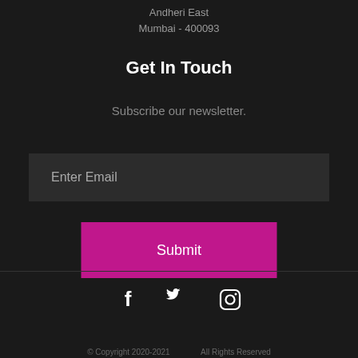Andheri East
Mumbai - 400093
Get In Touch
Subscribe our newsletter.
Enter Email
Submit
[Figure (infographic): Social media icons: Facebook (f), Twitter (bird), Instagram (camera outline)]
© Copyright 2020-2021 . . . All Rights Reserved